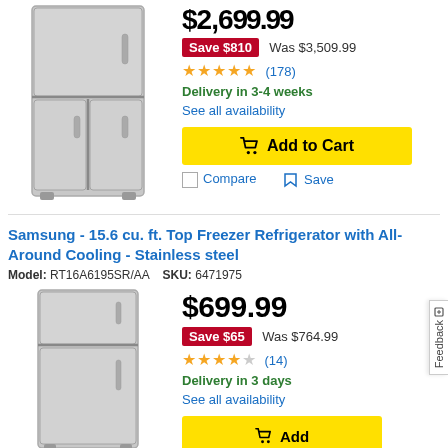[Figure (photo): Samsung 4-door French door refrigerator in stainless steel finish, shown partially cropped at top]
$2,699.99 (cropped) Save $810 Was $3,509.99
★★★★★ (178)
Delivery in 3-4 weeks
See all availability
Add to Cart
Compare  Save
Samsung - 15.6 cu. ft. Top Freezer Refrigerator with All-Around Cooling - Stainless steel
Model: RT16A6195SR/AA  SKU: 6471975
[Figure (photo): Samsung top freezer refrigerator in stainless steel, two-door design]
$699.99
Save $65 Was $764.99
★★★★☆ (14)
Delivery in 3 days
See all availability